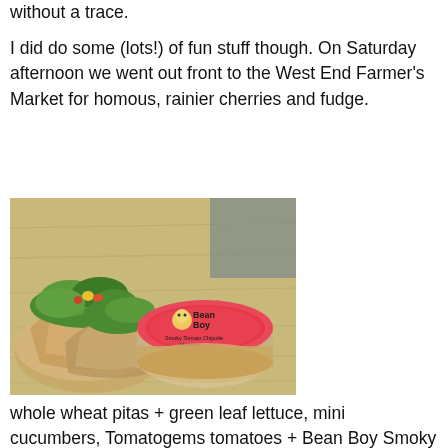without a trace.
I did do some (lots!) of fun stuff though. On Saturday afternoon we went out front to the West End Farmer's Market for homous, rainier cherries and fudge.
[Figure (photo): A photo of whole wheat pita wraps filled with green leaf lettuce and colorful vegetables, placed on a wooden cutting board next to a round container of Bean Boy Smoky Tomato Chipotle Homous with a red label.]
whole wheat pitas + green leaf lettuce, mini cucumbers, Tomatogems tomatoes + Bean Boy Smoky Tomato Chipotle Homous